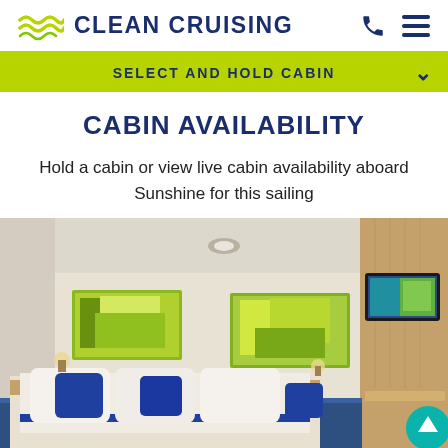CLEAN CRUISING
SELECT AND HOLD CABIN
CABIN AVAILABILITY
Hold a cabin or view live cabin availability aboard Sunshine for this sailing
[Figure (photo): Interior photo of a cruise ship cabin with a bed featuring blue and white pillows and bedding, two colorful wall art pieces, wood-paneled walls, a flat-screen TV on the right wall, and warm ambient lighting.]